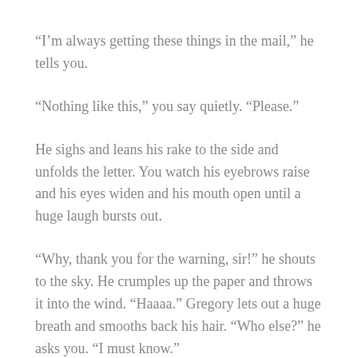“I’m always getting these things in the mail,” he tells you.
“Nothing like this,” you say quietly. “Please.”
He sighs and leans his rake to the side and unfolds the letter. You watch his eyebrows raise and his eyes widen and his mouth open until a huge laugh bursts out.
“Why, thank you for the warning, sir!” he shouts to the sky. He crumples up the paper and throws it into the wind. “Haaaa.” Gregory lets out a huge breath and smooths back his hair. “Who else?” he asks you. “I must know.”